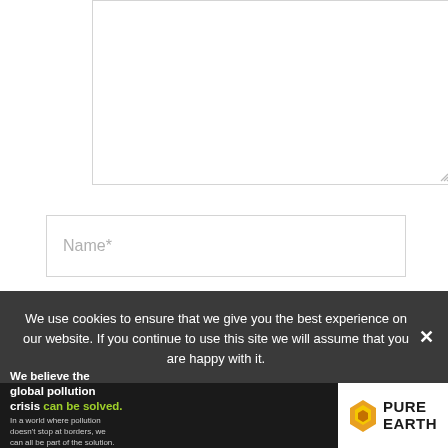[Figure (screenshot): Textarea input box (comment field), partially visible, with resize handle at bottom right]
Name*
Email*
We use cookies to ensure that we give you the best experience on our website. If you continue to use this site we will assume that you are happy with it.
[Figure (illustration): Pure Earth advertisement banner: 'We believe the global pollution crisis can be solved.' with tagline and logo]